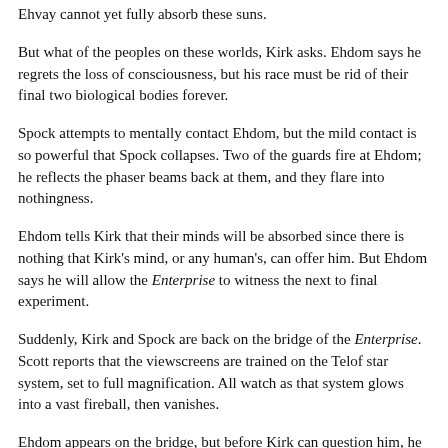Ehvay cannot yet fully absorb these suns.
But what of the peoples on these worlds, Kirk asks. Ehdom says he regrets the loss of consciousness, but his race must be rid of their final two biological bodies forever.
Spock attempts to mentally contact Ehdom, but the mild contact is so powerful that Spock collapses. Two of the guards fire at Ehdom; he reflects the phaser beams back at them, and they flare into nothingness.
Ehdom tells Kirk that their minds will be absorbed since there is nothing that Kirk's mind, or any human's, can offer him. But Ehdom says he will allow the Enterprise to witness the next to final experiment.
Suddenly, Kirk and Spock are back on the bridge of the Enterprise. Scott reports that the viewscreens are trained on the Telof star system, set to full magnification. All watch as that system glows into a vast fireball, then vanishes.
Ehdom appears on the bridge, but before Kirk can question him, he concentrates and on the screen the huge diffuse area that was the Telof system begins to glow. As all watch, amazed, glowing particles coalesce toward a center, which spins faster and faster,